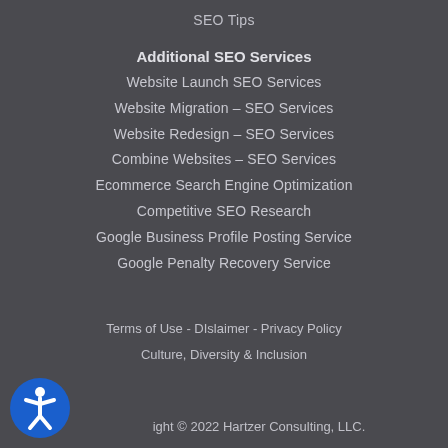SEO Tips
Additional SEO Services
Website Launch SEO Services
Website Migration – SEO Services
Website Redesign – SEO Services
Combine Websites – SEO Services
Ecommerce Search Engine Optimization
Competitive SEO Research
Google Business Profile Posting Service
Google Penalty Recovery Service
Terms of Use - DIslaimer - Privacy Policy
Culture, Diversity & Inclusion
Copyright © 2022 Hartzer Consulting, LLC.